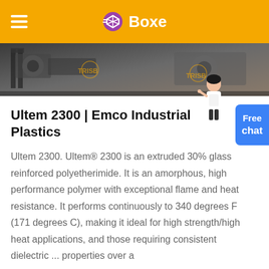Boxe
[Figure (photo): Industrial machinery/equipment banner image with TRISB branding watermarks]
Ultem 2300 | Emco Industrial Plastics
Ultem 2300. Ultem® 2300 is an extruded 30% glass reinforced polyetherimide. It is an amorphous, high performance polymer with exceptional flame and heat resistance. It performs continuously to 340 degrees F (171 degrees C), making it ideal for high strength/high heat applications, and those requiring consistent dielectric ... properties over a